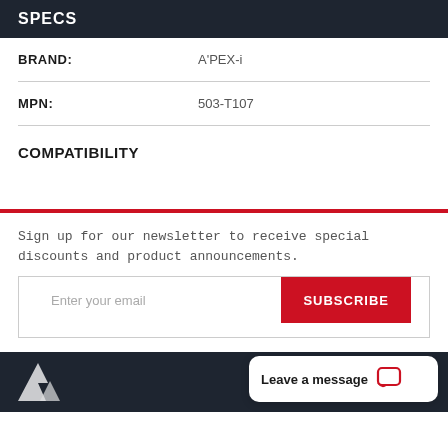SPECS
| BRAND: | A'PEX-i |
| MPN: | 503-T107 |
COMPATIBILITY
Sign up for our newsletter to receive special discounts and product announcements.
Enter your email | SUBSCRIBE
[Figure (other): Dark footer with partial logo and chat bubble saying Leave a message]